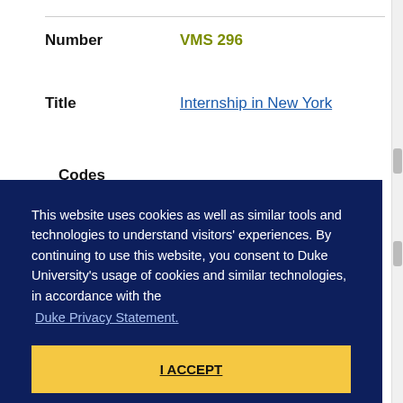Number   VMS 296
Title   Internship in New York
Codes
This website uses cookies as well as similar tools and technologies to understand visitors' experiences. By continuing to use this website, you consent to Duke University's usage of cookies and similar technologies, in accordance with the Duke Privacy Statement.
I ACCEPT
Codes